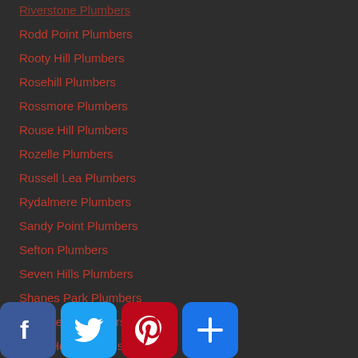Riverstone Plumbers
Rodd Point Plumbers
Rooty Hill Plumbers
Rosehill Plumbers
Rossmore Plumbers
Rouse Hill Plumbers
Rozelle Plumbers
Russell Lea Plumbers
Rydalmere Plumbers
Sandy Point Plumbers
Sefton Plumbers
Seven Hills Plumbers
Shanes Park Plumbers
Smithfield Plumbers
Solar Hot Water Installations
Solar Hot Water Installs
Solar Hot Water Service & Repair Lurnea
Solar Hot Water Service & Repair Wattle Grove
Solar Hot Water Service & Repairs Picnic Point
Solar Hot Water Service and Repairs Ambarvale